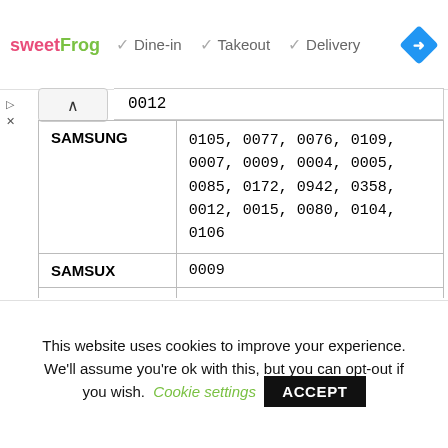[Figure (screenshot): sweetFrog logo with Dine-in, Takeout, Delivery checkmarks and a navigation diamond icon]
|  | 0012 |
| SAMSUNG | 0105, 0077, 0076, 0109, 0007, 0009, 0004, 0005, 0085, 0172, 0942, 0358, 0012, 0015, 0080, 0104, 0106 |
| SAMSUX | 0009 |
| SAMTRON | 0105 |
| SANSUI | 0135, 0310 |
This website uses cookies to improve your experience. We'll assume you're ok with this, but you can opt-out if you wish. Cookie settings ACCEPT